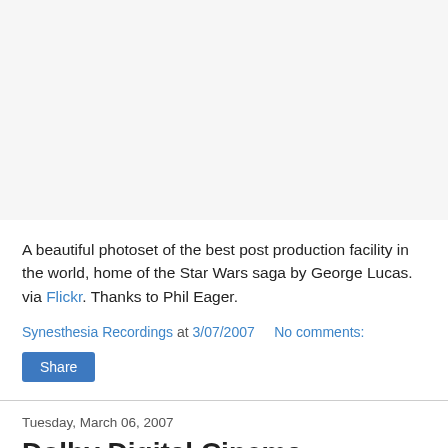A beautiful photoset of the best post production facility in the world, home of the Star Wars saga by George Lucas. via Flickr. Thanks to Phil Eager.
Synesthesia Recordings at 3/07/2007    No comments:
Share
Tuesday, March 06, 2007
Dolby Digital Cinema
Dolby Labs launched its Dolby Digital Cinema system around the world with "Star Wars Episode III: Revenge of the Sith". Dolby Digital Cinema provides the technology to store and decode digital files and deliver pristine digital movies to theaters. Rick Chavez reports for CNBC Europe on the new